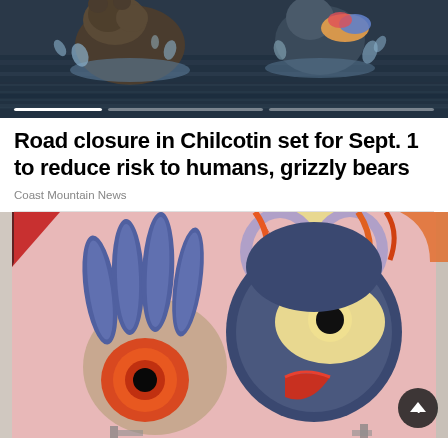[Figure (photo): Two grizzly bears splashing in a river or lake with water spraying around them, dark water background, one bear appears to be chasing or catching a fish. A progress/slideshow bar is visible at the bottom of the image.]
Road closure in Chilcotin set for Sept. 1 to reduce risk to humans, grizzly bears
Coast Mountain News
[Figure (photo): Indigenous Northwest Coast art painting on a pink background showing a stylized bird/raven with dark blue-grey shapes, curved forms in cream/yellow, purple, red, and orange. A hand-like form on the left with an eye, and a bird beak on the right with an eye. Corner shows a small red triangular shape at the upper left.]